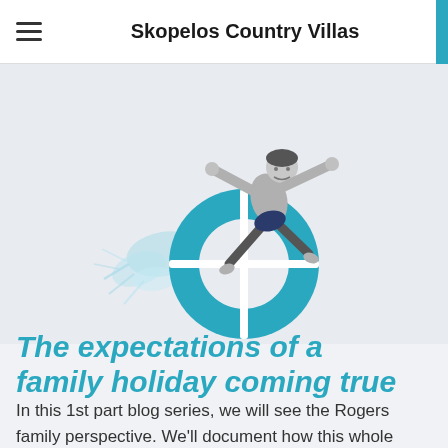Skopelos Country Villas
[Figure (illustration): Boy jumping over a teal life preserver ring with water splash decorative elements, black and white photo of boy overlaid on teal ring illustration]
The expectations of a family holiday coming true
In this 1st part blog series, we will see the Rogers family perspective. We'll document how this whole